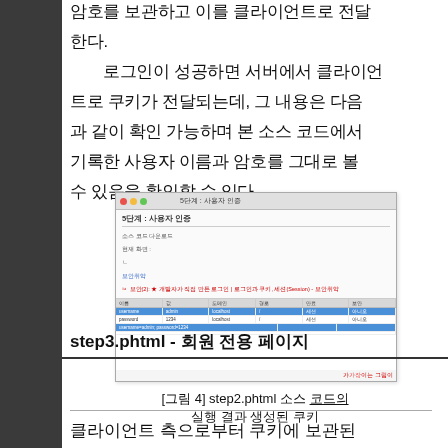암호를 보관하고 이를 클라이언트로 전달한다.
　로그인이 성공하면 서버에서 클라이언트로 쿠키가 전달되는데, 그 내용은 다음과 같이 확인 가능하며 본 소스 코드에서 기록한 사용자 이름과 암호를 그대로 볼 수 있음을 확인할 수 있다.
[Figure (screenshot): Screenshot of a web browser showing a cookie inspection tool with Korean text '5단계 : 사용자 인증' and cookie data in a table view with highlighted rows]
[그림 4] step2.phtml 소스 코드의 실행 결과 생성된 쿠키
step3.phtml - 회원 전용 페이지
클라이언트 측으로부터 쿠키에 보관된